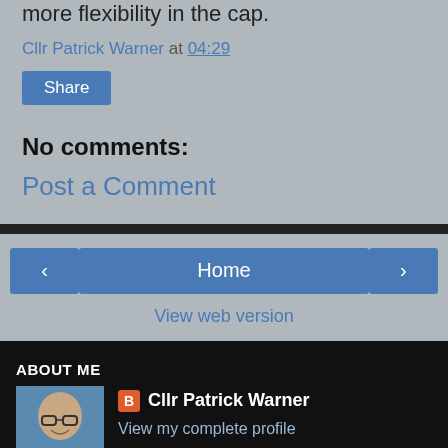more flexibility in the cap.
Cllr Patrick Warner at 04:29
Share
No comments:
Post a Comment
Home
View web version
ABOUT ME
[Figure (photo): Profile photo of Cllr Patrick Warner, a man in a suit with glasses]
Cllr Patrick Warner
View my complete profile
Powered by Blogger.